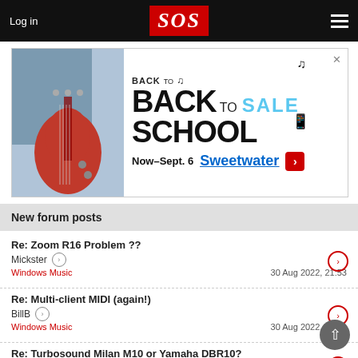Log in | SOS | Menu
[Figure (photo): Back to School Sale advertisement banner featuring a person playing a red electric guitar. Text reads BACK TO SCHOOL SALE, Now-Sept. 6, Sweetwater with arrow button.]
New forum posts
Re: Zoom R16 Problem ?? | Mickster | Windows Music | 30 Aug 2022, 21:53
Re: Multi-client MIDI (again!) | BillB | Windows Music | 30 Aug 2022, 21:11
Re: Turbosound Milan M10 or Yamaha DBR10? | Dave Rowles | Live Sound & Performance | 30 Aug 2022, 20:52